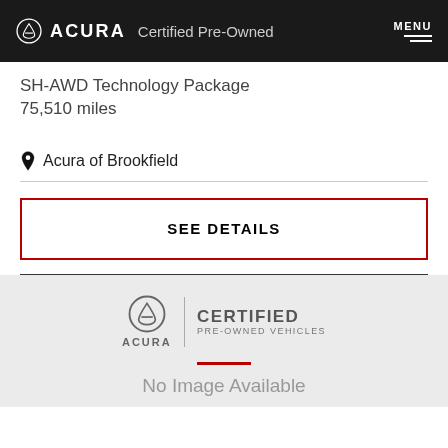ACURA Certified Pre-Owned  MENU
SH-AWD Technology Package
75,510 miles
Acura of Brookfield
SEE DETAILS
[Figure (logo): Acura Certified Pre-Owned Vehicles logo with red horizontal line and 'No Image Available' text below]